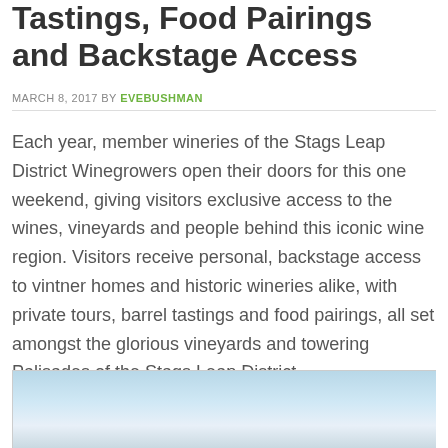Tastings, Food Pairings and Backstage Access
MARCH 8, 2017 BY EVEBUSHMAN
Each year, member wineries of the Stags Leap District Winegrowers open their doors for this one weekend, giving visitors exclusive access to the wines, vineyards and people behind this iconic wine region. Visitors receive personal, backstage access to vintner homes and historic wineries alike, with private tours, barrel tastings and food pairings, all set amongst the glorious vineyards and towering Palisades of the Stags Leap District.
[Figure (photo): Outdoor photo of sky with wispy clouds and blue sky, likely over a vineyard or landscape.]